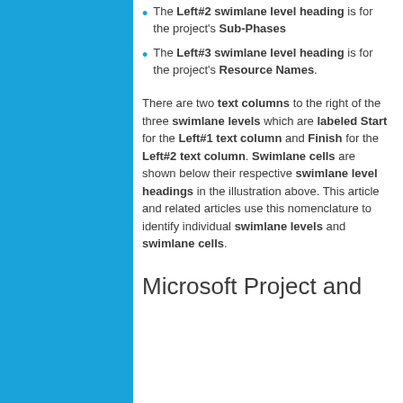The Left#2 swimlane level heading is for the project's Sub-Phases
The Left#3 swimlane level heading is for the project's Resource Names.
There are two text columns to the right of the three swimlane levels which are labeled Start for the Left#1 text column and Finish for the Left#2 text column. Swimlane cells are shown below their respective swimlane level headings in the illustration above. This article and related articles use this nomenclature to identify individual swimlane levels and swimlane cells.
Microsoft Project and